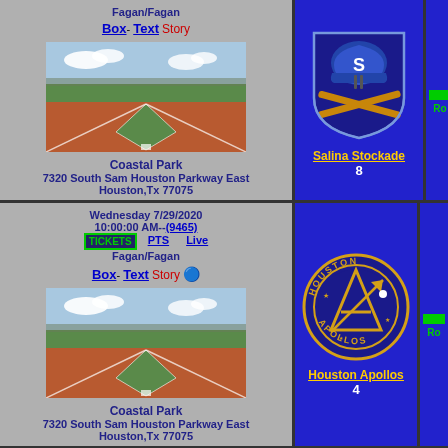Fagan/Fagan
Box- Text Story
[Figure (photo): Baseball field photo - Coastal Park]
Coastal Park 7320 South Sam Houston Parkway East Houston,Tx 77075
[Figure (logo): Salina Stockade team logo]
Salina Stockade 8
Wednesday 7/29/2020 10:00:00 AM--(9465) TICKETS PTS Live Fagan/Fagan
Box- Text Story
[Figure (photo): Baseball field photo - Coastal Park]
Coastal Park 7320 South Sam Houston Parkway East Houston,Tx 77075
[Figure (logo): Houston Apollos team logo - circular gold and blue]
Houston Apollos 4